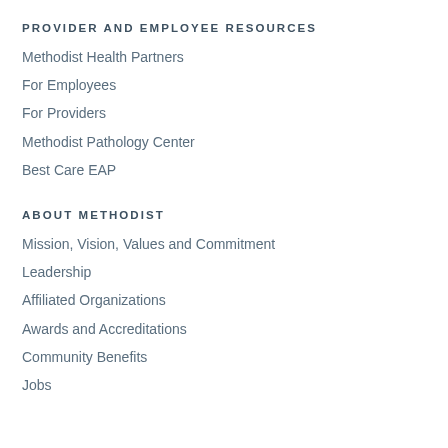PROVIDER AND EMPLOYEE RESOURCES
Methodist Health Partners
For Employees
For Providers
Methodist Pathology Center
Best Care EAP
ABOUT METHODIST
Mission, Vision, Values and Commitment
Leadership
Affiliated Organizations
Awards and Accreditations
Community Benefits
Jobs